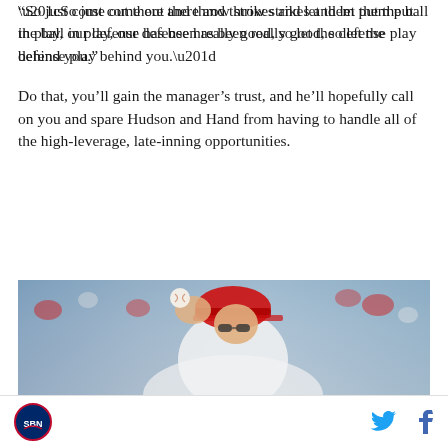“So just come out there and throw strikes and let them put the ball in play, our defense has been really good, so let the defense play behind you.”
Do that, you’ll gain the manager’s trust, and he’ll hopefully call on you and spare Hudson and Hand from having to handle all of the high-leverage, late-inning opportunities.
[Figure (photo): A baseball pitcher in a red cap and white uniform winds up to throw a pitch, with a blurred stadium crowd in the background.]
SB Nation logo | Twitter icon | Facebook icon